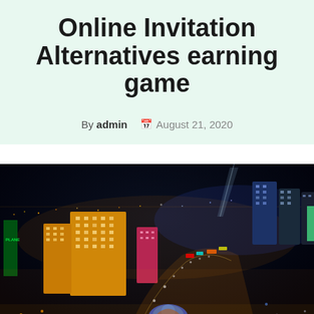Online Invitation Alternatives earning game
By admin  August 21, 2020
[Figure (photo): Aerial night view of the Las Vegas Strip showing illuminated casino hotels, colorful neon lights, and city lights stretching to the horizon, taken with a fisheye or wide-angle lens.]